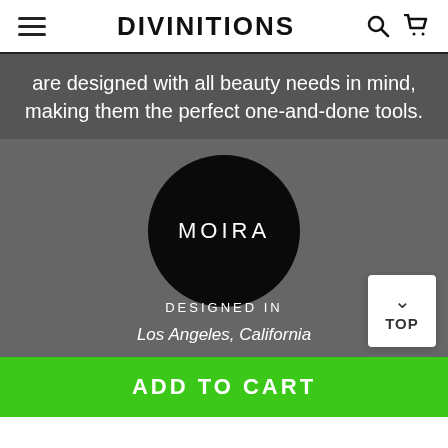DIvINItIoNs
are designed with all beauty needs in mind, making them the perfect one-and-done tools.
[Figure (logo): Moira brand logo — black circle with white 'MOIRA' text on grey background, with 'DESIGNED IN' and 'Los Angeles, California' text below]
ADD TO CART